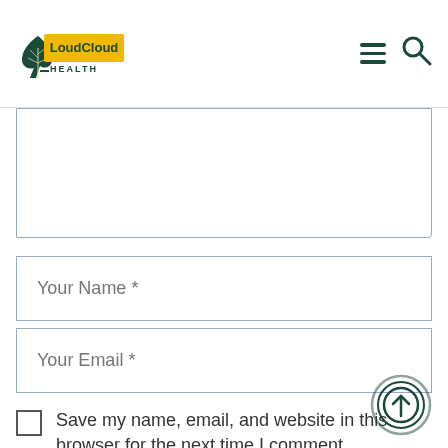LoudCloud Health
[Figure (screenshot): Comment form with textarea, name field, email field, and save checkbox]
Your Name *
Your Email *
Save my name, email, and website in this browser for the next time I comment.